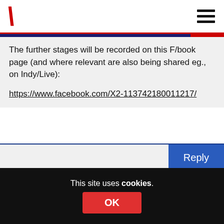/ [logo] [hamburger menu]
The further stages will be recorded on this F/book page (and where relevant are also being shared eg., on Indy/Live):

https://www.facebook.com/X2-113742180011217/
Reply
Colin Robinson
3rd August 2021 at 1:57 pm
Documents not words… Nice one!
This site uses cookies. OK